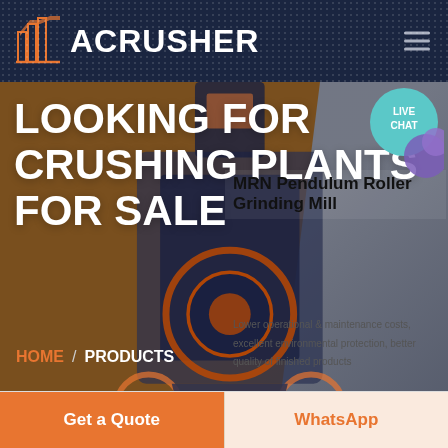ACRUSHER
LOOKING FOR CRUSHING PLANTS FOR SALE
[Figure (screenshot): LIVE CHAT bubble with chat icon in teal/purple]
MRN Pendulum Roller Grinding Mill
Lower operational & maintenance costs, excellent environmental protection, better quality of finished products
HOME / PRODUCTS
[Figure (photo): Industrial crushing/grinding machine (MRN Pendulum Roller Grinding Mill) on dark background]
Get a Quote
WhatsApp